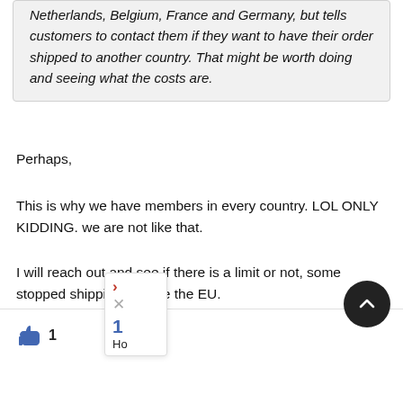Netherlands, Belgium, France and Germany, but tells customers to contact them if they want to have their order shipped to another country. That might be worth doing and seeing what the costs are.
Perhaps,
This is why we have members in every country. LOL ONLY KIDDING. we are not like that.
I will reach out and see if there is a limit or not, some stopped shipping outside the EU.
denby likes this post